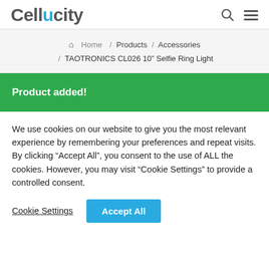Cellucity
Home / Products / Accessories / TAOTRONICS CL026 10" Selfie Ring Light
Product added!
We use cookies on our website to give you the most relevant experience by remembering your preferences and repeat visits. By clicking "Accept All", you consent to the use of ALL the cookies. However, you may visit "Cookie Settings" to provide a controlled consent.
Cookie Settings | Accept All